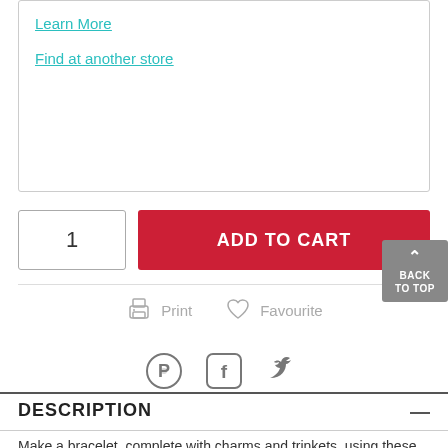Learn More
Find at another store
1
ADD TO CART
↑ BACK TO TOP
Print
Favourite
DESCRIPTION
Make a bracelet, complete with charms and trinkets, using these pretty marble beads by Bead Landing. String them onto a bracelet base or chain, or pair them with cords to make some chic, rustic jewellery.